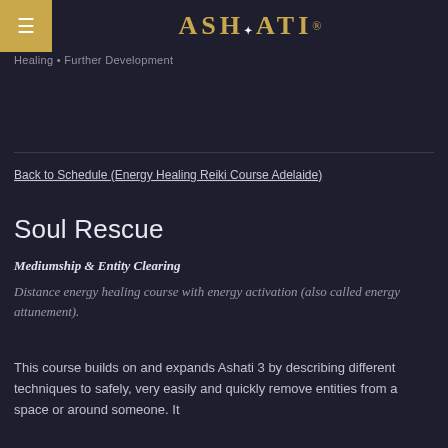ASHATI
Healing • Further Development
Back to Schedule (Energy Healing Reiki Course Adelaide)
Soul Rescue
Mediumship & Entity Clearing
Distance energy healing course with energy activation (also called energy attunement).
This course builds on and expands Ashati 3 by describing different techniques to safely, very easily and quickly remove entities from a space or around someone. It